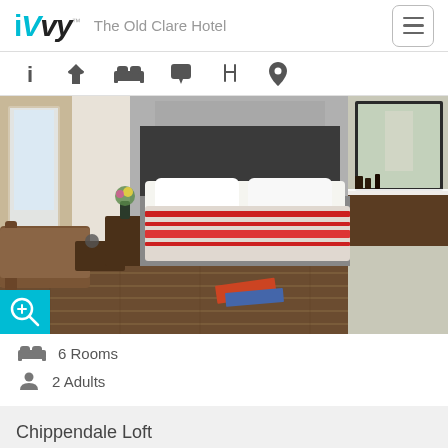iVvy — The Old Clare Hotel
[Figure (screenshot): Navigation icon bar with info, cocktail/bar, bed/rooms, tag/offers, dining fork-knife, and location pin icons]
[Figure (photo): Hotel room photo showing a king bed with white linens and red striped throw, wooden floors, leather armchair, grey headboard, and bathroom vanity in background]
6 Rooms
2 Adults
Chippendale Loft
[Figure (photo): Partial view of Chippendale Loft room with light-colored interior visible at bottom of page]